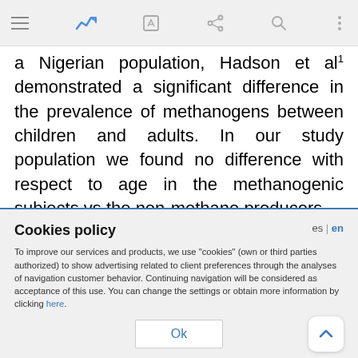[toolbar with hamburger menu, chart icon, edit icon, share icon, search icon, more icon]
a Nigerian population, Hadson et al demonstrated a significant difference in the prevalence of methanogens between children and adults. In our study population we found no difference with respect to age in the methanogenic subjects vs the non-methane producers.

Many factors have been identified that appear to
Cookies policy
To improve our services and products, we use "cookies" (own or third parties authorized) to show advertising related to client preferences through the analyses of navigation customer behavior. Continuing navigation will be considered as acceptance of this use. You can change the settings or obtain more information by clicking here.